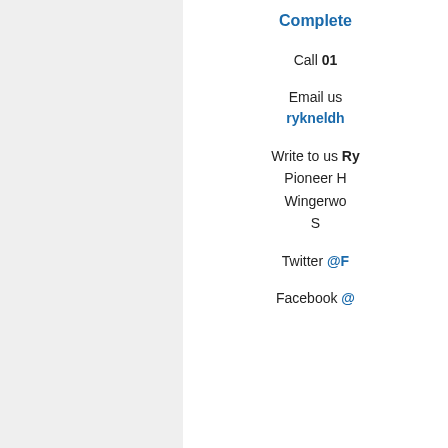Complete
Call 01
Email us rykneldh
Write to us Ry Pioneer H Wingerwo S
Twitter @F
Facebook @